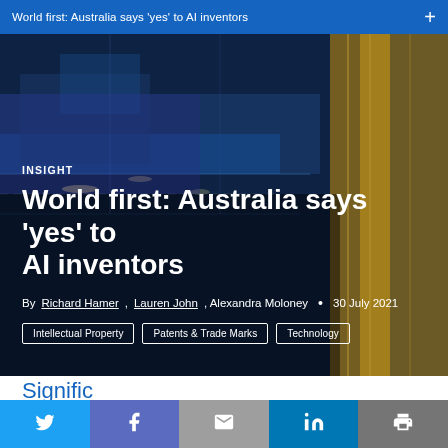World first: Australia says ‘yes’ to AI inventors
[Figure (photo): Aerial night view of city infrastructure with blue and golden hues, showing roads and vehicles with motion blur]
INSIGHT
World first: Australia says ‘yes’ to AI inventors
By Richard Hamer, Lauren John, Alexandra Moloney • 30 July 2021
Intellectual Property   Patents & Trade Marks   Technology
Signific...ification of...
Twitter Facebook Email LinkedIn Print